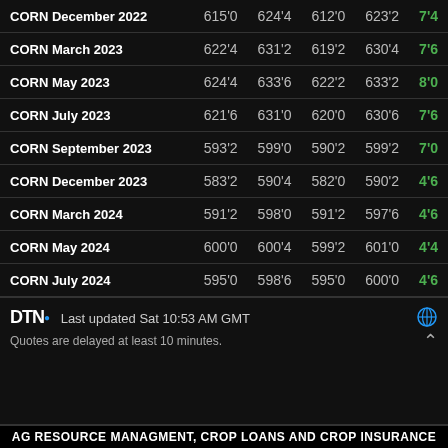| Contract | Open | High | Low | Last | Change |
| --- | --- | --- | --- | --- | --- |
| CORN December 2022 | 615'0 | 624'4 | 612'0 | 623'2 | 7'4 |
| CORN March 2023 | 622'4 | 631'2 | 619'2 | 630'4 | 7'6 |
| CORN May 2023 | 624'4 | 633'6 | 622'2 | 633'2 | 8'0 |
| CORN July 2023 | 621'6 | 631'0 | 620'0 | 630'6 | 7'6 |
| CORN September 2023 | 593'2 | 599'0 | 590'2 | 599'2 | 7'0 |
| CORN December 2023 | 583'2 | 590'4 | 582'0 | 590'2 | 4'6 |
| CORN March 2024 | 591'2 | 598'0 | 591'2 | 597'6 | 4'6 |
| CORN May 2024 | 600'0 | 600'4 | 599'2 | 601'0 | 4'4 |
| CORN July 2024 | 595'0 | 598'6 | 595'0 | 600'0 | 4'6 |
DTN® Last updated Sat 10:53 AM GMT
Quotes are delayed at least 10 minutes.
AG RESOURCE MANAGMENT, CROP LOANS AND CROP INSURANCE